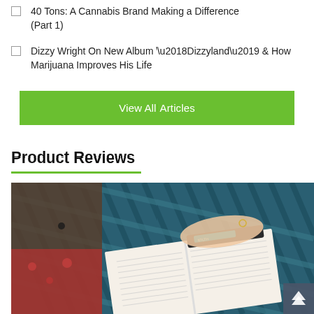40 Tons: A Cannabis Brand Making a Difference (Part 1)
Dizzy Wright On New Album ‘Dizzyland’ & How Marijuana Improves His Life
View All Articles
Product Reviews
[Figure (photo): A person's hand resting on an open book with a vape pen on top, placed on a woven blue surface, with person in red floral dress visible]